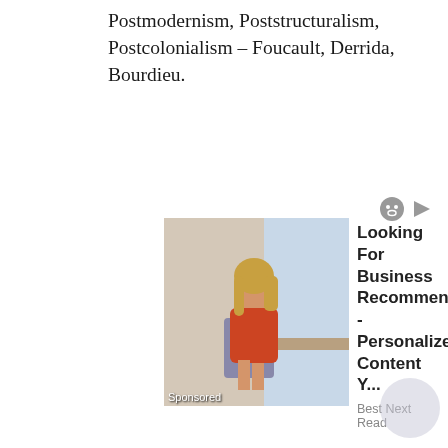Postmodernism, Poststructuralism, Postcolonialism – Foucault, Derrida, Bourdieu.
[Figure (photo): Sponsored ad image: woman in red dress sitting at a desk by a window]
Looking For Business Recommendations? - Personalized Content Y...
Best Next Read
[Figure (photo): Sponsored ad image: man with wide eyes showing teeth]
Dentists Baffled: Basic Vitamin Stops Teeth Falling Out & Rebuild...
iamhealth.life
Ethnicity – Barth, Jeffery, Weber.
UNIT – IX